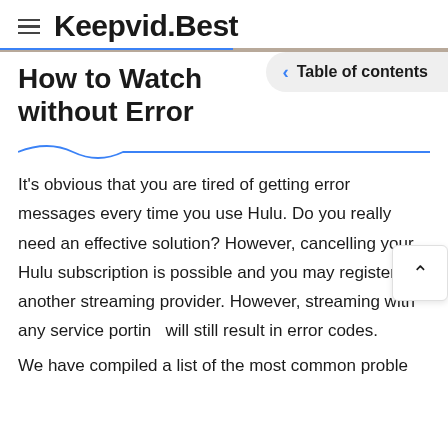Keepvid.Best
How to Watch without Error
It's obvious that you are tired of getting error messages every time you use Hulu. Do you really need an effective solution? However, cancelling your Hulu subscription is possible and you may register for another streaming provider. However, streaming with any service porting will still result in error codes.
We have compiled a list of the most common problems that